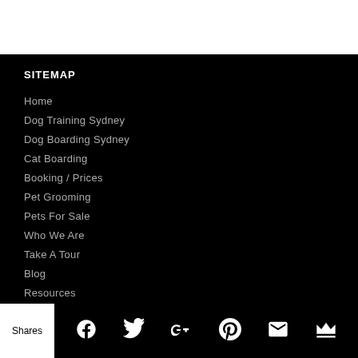SITEMAP
Home
Dog Training Sydney
Dog Boarding Sydney
Cat Boarding
Booking / Prices
Pet Grooming
Pets For Sale
Who We Are
Take A Tour
Blog
Resources
Contact Us
LATEST BLOG POSTS
Shares | Social share icons: Facebook, Twitter, Google+, Pinterest, Email, Crown